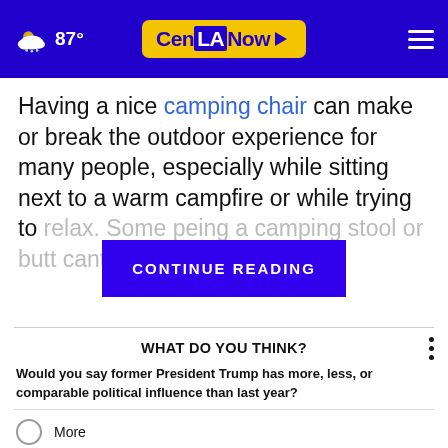CenLA Now | 87°
Having a nice camping chair can make or break the outdoor experience for many people, especially while sitting next to a warm campfire or while trying to relax. Some pe...ing a camping stool or butt c...ant.
CONTINUE READING
WHAT DO YOU THINK?
Would you say former President Trump has more, less, or comparable political influence than last year?
More
Less
Comparable